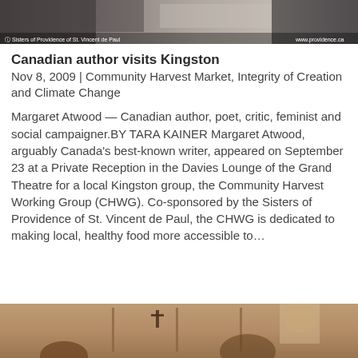[Figure (photo): Top portion of a photo showing people, with caption overlays: 'Sisters of Providence of St. Vincent de Paul' on the left and 'www.providence.ca' on the right]
Canadian author visits Kingston
Nov 8, 2009 | Community Harvest Market, Integrity of Creation and Climate Change
Margaret Atwood — Canadian author, poet, critic, feminist and social campaigner.BY TARA KAINER Margaret Atwood, arguably Canada's best-known writer, appeared on September 23 at a Private Reception in the Davies Lounge of the Grand Theatre for a local Kingston group, the Community Harvest Working Group (CHWG). Co-sponsored by the Sisters of Providence of St. Vincent de Paul, the CHWG is dedicated to making local, healthy food more accessible to…
[Figure (photo): Bottom portion of a photo showing an interior room with a cross on the wall and people seated or standing]